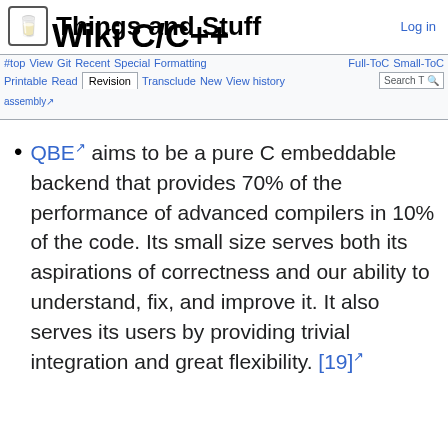Things and Stuff Wiki C/C++ — Log in
QBE aims to be a pure C embeddable backend that provides 70% of the performance of advanced compilers in 10% of the code. Its small size serves both its aspirations of correctness and our ability to understand, fix, and improve it. It also serves its users by providing trivial integration and great flexibility. [19]